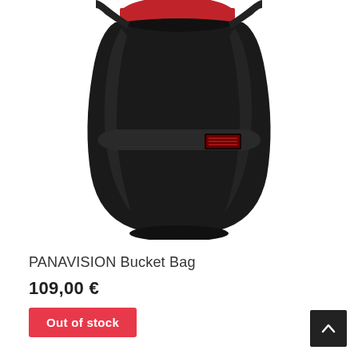[Figure (photo): Close-up photo of a black PANAVISION Bucket Bag with red interior visible at top, showing glossy black exterior with structured shape, a horizontal strap with a small dark red rectangular label/patch, on a white background.]
PANAVISION Bucket Bag
109,00 €
Out of stock